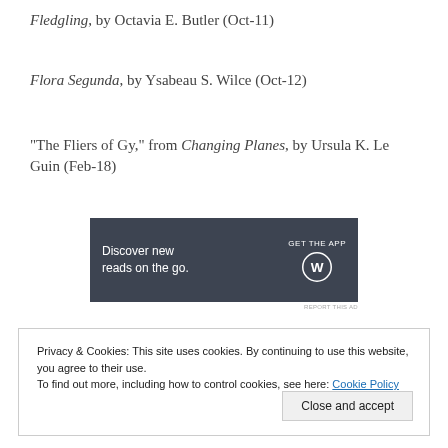Fledgling, by Octavia E. Butler (Oct-11)
Flora Segunda, by Ysabeau S. Wilce (Oct-12)
“The Fliers of Gy,” from Changing Planes, by Ursula K. Le Guin (Feb-18)
[Figure (other): Advertisement banner: 'Discover new reads on the go. GET THE APP' with WordPress logo on dark background]
Privacy & Cookies: This site uses cookies. By continuing to use this website, you agree to their use.
To find out more, including how to control cookies, see here: Cookie Policy
Close and accept